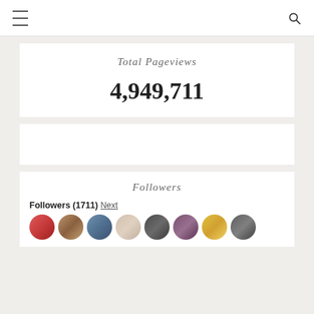☰ [menu icon] [search icon]
Total Pageviews
4,949,711
Followers
Followers (1711) Next